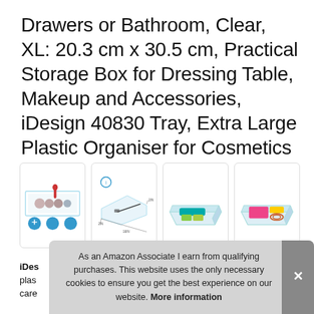Drawers or Bathroom, Clear, XL: 20.3 cm x 30.5 cm, Practical Storage Box for Dressing Table, Makeup and Accessories, iDesign 40830 Tray, Extra Large Plastic Organiser for Cosmetics
[Figure (photo): Four product images of iDesign clear plastic organiser tray: 1) tray with cosmetics and three blue feature icons, 2) dimensional diagram showing 2IN height and 16IN length, 3) tray with teal/green items, 4) tray with pink/colorful items]
iDes... plas... care...
As an Amazon Associate I earn from qualifying purchases. This website uses the only necessary cookies to ensure you get the best experience on our website. More information